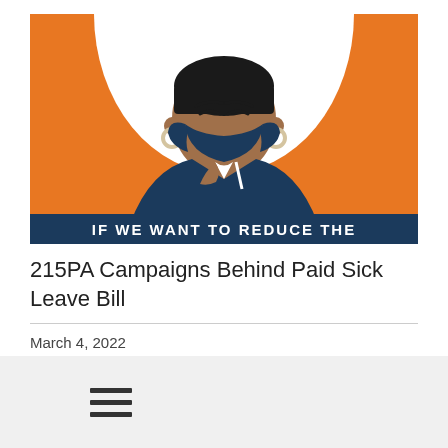[Figure (illustration): Illustration of a Black woman wearing a dark navy face mask and hoop earrings, dressed in a navy jacket, set against an orange background with a white arch shape. A dark navy banner at the bottom reads 'IF WE WANT TO REDUCE THE' in white bold text.]
215PA Campaigns Behind Paid Sick Leave Bill
March 4, 2022